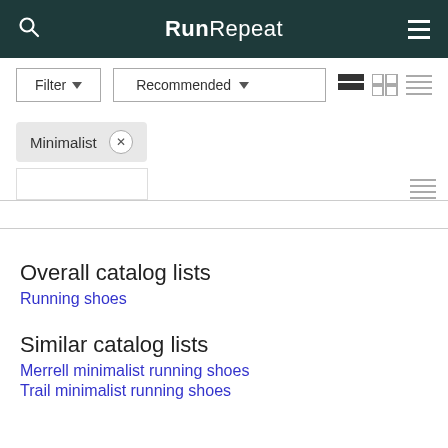RunRepeat
Filter ▾   Recommended ▾
Minimalist ×
Overall catalog lists
Running shoes
Similar catalog lists
Merrell minimalist running shoes
Trail minimalist running shoes